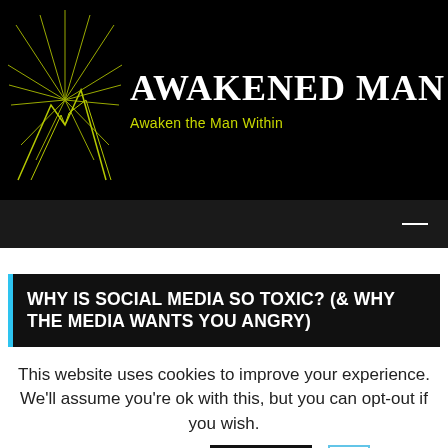AWAKENED MAN — Awaken the Man Within
[Figure (logo): Awakened Man logo: line art of a mountain with radiating sun rays, drawn in yellow-green on black background]
WHY IS SOCIAL MEDIA SO TOXIC? (& WHY THE MEDIA WANTS YOU ANGRY)
This website uses cookies to improve your experience. We'll assume you're ok with this, but you can opt-out if you wish. Cookie settings ACCEPT